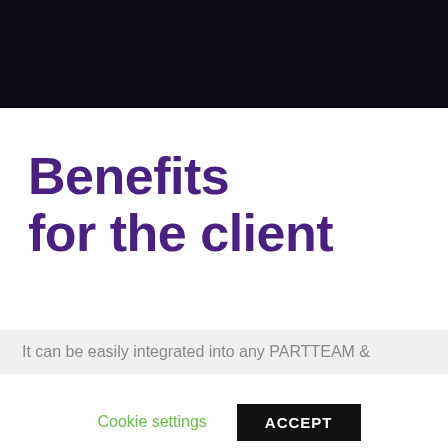[Figure (screenshot): Dark header background area at top of page]
Benefits for the client
It can be easily integrated into any PARTTEAM &
This website uses cookies to improve your experience. We'll assume you're ok with this, but you can opt-out if you wish.
Cookie settings   ACCEPT